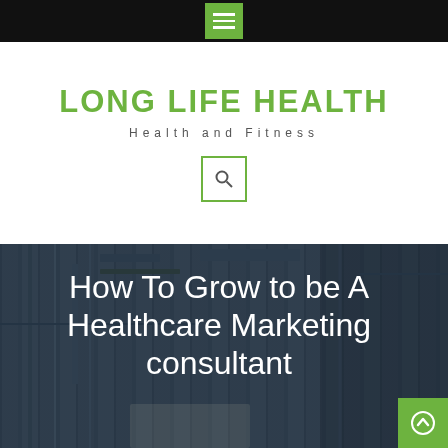[Figure (logo): Black top navigation bar with green hamburger menu icon (three white horizontal lines on green square background)]
LONG LIFE HEALTH
Health and Fitness
[Figure (other): Green-bordered search icon box with magnifying glass symbol]
[Figure (photo): Dark blue-grey toned background photo of laboratory/medical equipment machinery with gloved hand visible. Overlaid large white text: 'How To Grow to be A Healthcare Marketing consultant'. Green scroll-to-top button in bottom right corner.]
How To Grow to be A Healthcare Marketing consultant